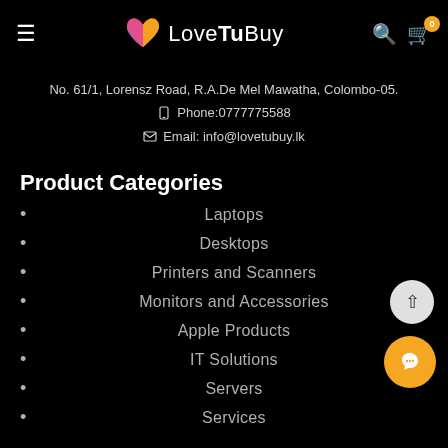LoveTuBuy — navigation bar with hamburger menu, logo, search and cart icons
No. 61/1, Lorensz Road, R.A.De Mel Mawatha, Colombo-05.
📱 Phone:0777775588
✉ Email: info@lovetubuy.lk
Product Categories
Laptops
Desktops
Printers and Scanners
Monitors and Accessories
Apple Products
IT Solutions
Servers
Services